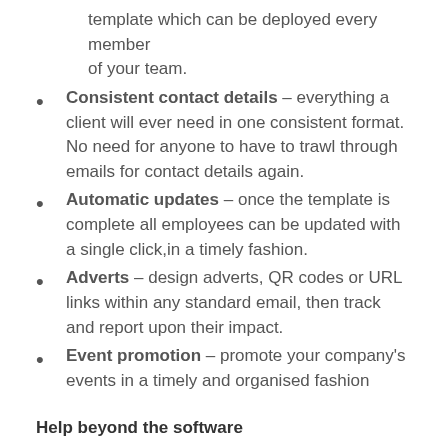template which can be deployed every member of your team.
Consistent contact details – everything a client will ever need in one consistent format. No need for anyone to have to trawl through emails for contact details again.
Automatic updates – once the template is complete all employees can be updated with a single click,in a timely fashion.
Adverts – design adverts, QR codes or URL links within any standard email, then track and report upon their impact.
Event promotion – promote your company's events in a timely and organised fashion
Help beyond the software
At telanova, we're here to help you make the right